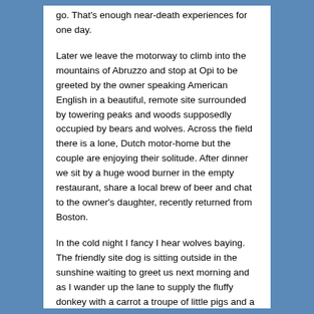go. That's enough near-death experiences for one day.
Later we leave the motorway to climb into the mountains of Abruzzo and stop at Opi to be greeted by the owner speaking American English in a beautiful, remote site surrounded by towering peaks and woods supposedly occupied by bears and wolves. Across the field there is a lone, Dutch motor-home but the couple are enjoying their solitude. After dinner we sit by a huge wood burner in the empty restaurant, share a local brew of beer and chat to the owner's daughter, recently returned from Boston.
In the cold night I fancy I hear wolves baying. The friendly site dog is sitting outside in the sunshine waiting to greet us next morning and as I wander up the lane to supply the fluffy donkey with a carrot a troupe of little pigs and a gaggle of white ducks come running up.
Then we are off again, heading down off the Appenines and away to the west to skirt Naples-I am adamant this time that I will not drive on the motorway. But we are to encounter far worse driving related incidents as we